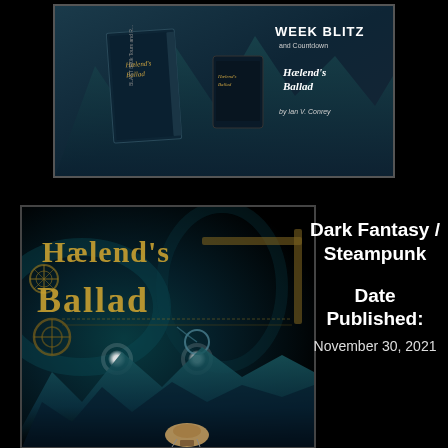[Figure (illustration): Week Blitz promotional banner for Haelend's Ballad by Ian V. Conrey, showing book covers against a dark fantasy mountain background]
[Figure (illustration): Book cover of Haelend's Ballad featuring ornate steampunk lettering in gold, glowing eyes, teal mountains, and an airship on a dark background]
Dark Fantasy / Steampunk
Date Published: November 30, 2021